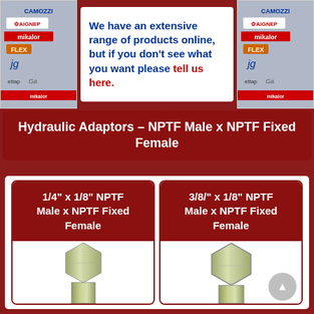[Figure (logo): Brand logos panel (CAMOZZI, AIGNEP, MIKALOR, FLEX, JG, ettap) on left and right sides of top banner]
We have an extensive range of products online, but if you don't see what you want please tell us here.
Hydraulic Adaptors – NPTF Male x NPTF Fixed Female
1/4" x 1/8" NPTF Male x NPTF Fixed Female
[Figure (photo): Hydraulic adaptor fitting - 1/4 inch x 1/8 inch NPTF Male x NPTF Fixed Female, zinc-plated steel hex head fitting]
3/8/" x 1/8" NPTF Male x NPTF Fixed Female
[Figure (photo): Hydraulic adaptor fitting - 3/8 inch x 1/8 inch NPTF Male x NPTF Fixed Female, zinc-plated steel hex head fitting]